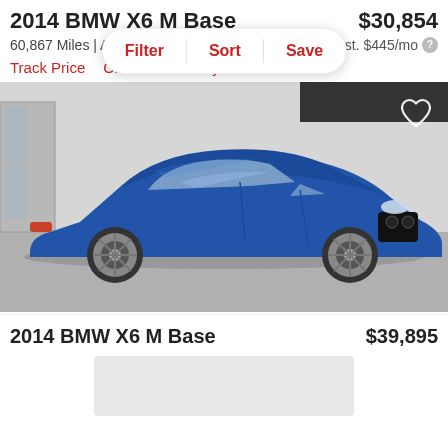2014 BMW X6 M Base
$30,854
60,867 Miles | A
est. $445/mo
Filter   Sort   Save
Track Price   Check Availability
[Figure (photo): Blue 2014 BMW X6 M Base SUV photographed in a showroom/garage setting with white walls, viewed from a front-left angle, with a heart/favorite icon overlay in top-right corner.]
2014 BMW X6 M Base
$39,895
[Figure (other): Light gray loading placeholder rectangle below the second car listing title.]